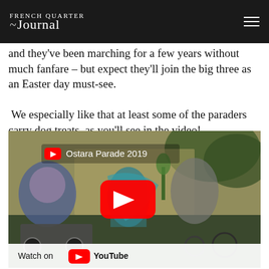French Quarter Journal
and they've been marching for a few years without much fanfare – but expect they'll join the big three as an Easter day must-see.
We especially like that at least some of the paraders carry dog treats, as you'll see in the video!
[Figure (screenshot): YouTube video thumbnail showing Ostara Parade 2019 with parade participants including people on wheeled vehicles and colorful costumes. Red YouTube play button in center. 'Watch on YouTube' bar at bottom.]